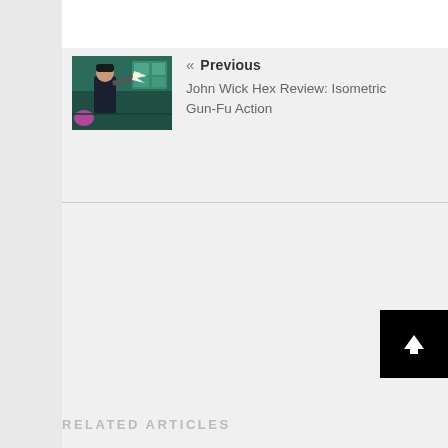[Figure (screenshot): Navigation block showing a previous article link with a thumbnail image of John Wick Hex game screenshot (isometric view, character with gun in teal-lit environment), chevron left icon, bold 'Previous' label, and article title text 'John Wick Hex Review: Isometric Gun-Fu Action']
« Previous
John Wick Hex Review: Isometric Gun-Fu Action
[Figure (other): Black scroll-to-top button with white upward arrow icon]
RELATED ARTICLES